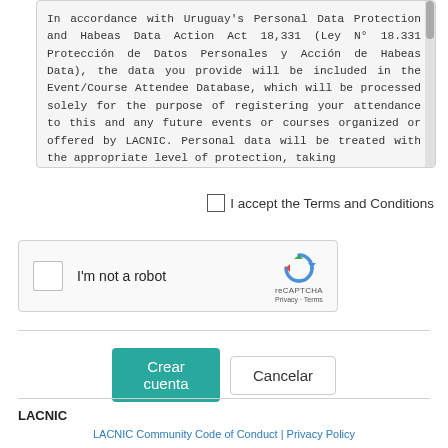In accordance with Uruguay's Personal Data Protection and Habeas Data Action Act 18,331 (Ley N° 18.331 Protección de Datos Personales y Acción de Habeas Data), the data you provide will be included in the Event/Course Attendee Database, which will be processed solely for the purpose of registering your attendance to this and any future events or courses organized or offered by LACNIC. Personal data will be treated with the appropriate level of protection, taking
I accept the Terms and Conditions
[Figure (screenshot): reCAPTCHA widget with checkbox labeled 'I'm not a robot' and reCAPTCHA logo with Privacy and Terms links]
Crear cuenta
Cancelar
LACNIC
LACNIC Community Code of Conduct | Privacy Policy